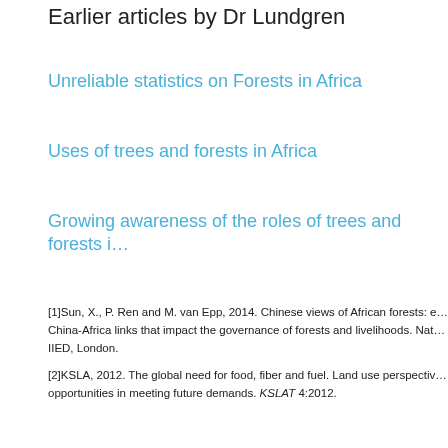Earlier articles by Dr Lundgren
Unreliable statistics on Forests in Africa
Uses of trees and forests in Africa
Growing awareness of the roles of trees and forests i…
[1]Sun, X., P. Ren and M. van Epp, 2014. Chinese views of African forests: e… China-Africa links that impact the governance of forests and livelihoods. Nat… IIED, London.
[2]KSLA, 2012. The global need for food, fiber and fuel. Land use perspectiv… opportunities in meeting future demands. KSLAT 4:2012.